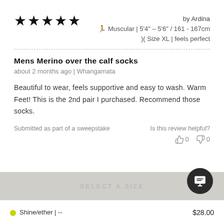★★★★★ by Ardina
🏃 Muscular | 5'4" - 5'6" / 161 - 167cm
)( Size XL | feels perfect
Mens Merino over the calf socks
about 2 months ago | Whangamata
Beautiful to wear, feels supportive and easy to wash. Warm Feet! This is the 2nd pair I purchased. Recommend those socks.
Submitted as part of a sweepstake
Is this review helpful?
👍0  👎0
SELECT A SIZE
Shine/ether | --
$28.00